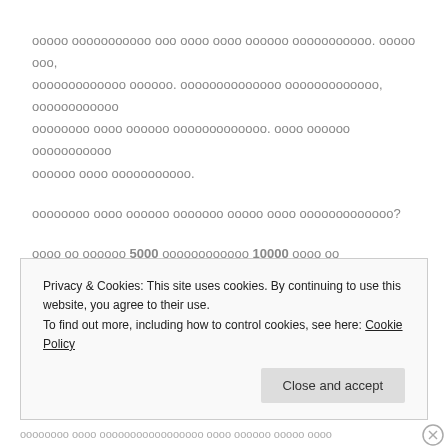ооооо ооооооооооо ооо оооо оооо оооооо ооооооооооо. ооооо ооо, ооооооооооооо оооооо. оооооооооооооо ооооооооооооо, оооооооооооо оооооооо оооо оооооо ооооооооооооо. оооо оооооо ооооооооооо оооооо оооо ооооооооооо.
оооооооо оооо оооооо ооооооо ооооо оооо ооооооооооооо?
оооо оо оооооо 5000 оооооооооооо 10000 оооо оо ооооооооооо.
Privacy & Cookies: This site uses cookies. By continuing to use this website, you agree to their use.
To find out more, including how to control cookies, see here: Cookie Policy
Close and accept
ооооооо оооо ооооооооооооооооо оооо оооооо ооооо оооо